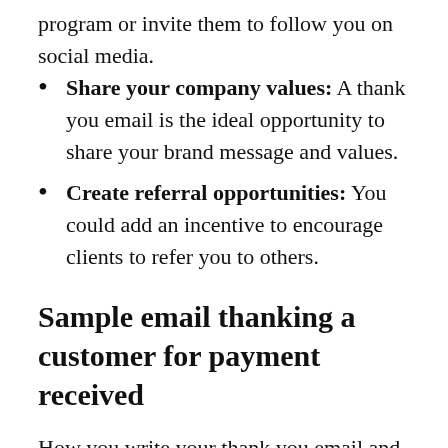program or invite them to follow you on social media.
Share your company values: A thank you email is the ideal opportunity to share your brand message and values.
Create referral opportunities: You could add an incentive to encourage clients to refer you to others.
Sample email thanking a customer for payment received
How you write your thank you email and when you send it will make a big difference to its impact on customers. Your email can be shorter or longer depending on your content guidelines, however